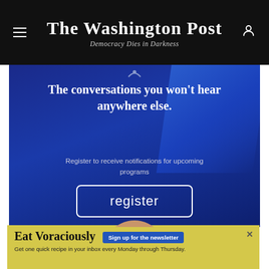The Washington Post — Democracy Dies in Darkness
[Figure (illustration): Washington Post promotional banner with dark blue gradient background showing a middle-aged bald man smiling, with text: 'The conversations you won't hear anywhere else. Register to receive notifications for upcoming programs' and a 'register' button with rounded border.]
The conversations you won't hear anywhere else.
Register to receive notifications for upcoming programs
register
Eat Voraciously Sign up for the newsletter Get one quick recipe in your inbox every Monday through Thursday.